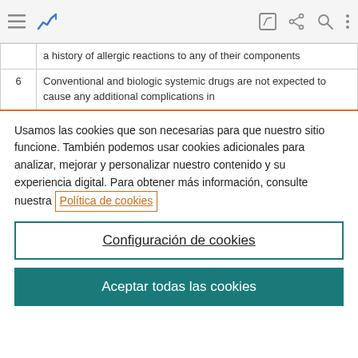[Figure (screenshot): Browser toolbar with hamburger menu icon, analytics icon, edit icon, share icon, search icon, and more options icon on a light gray background]
|  | a history of allergic reactions to any of their components |
| 6 | Conventional and biologic systemic drugs are not expected to cause any additional complications in |
Usamos las cookies que son necesarias para que nuestro sitio funcione. También podemos usar cookies adicionales para analizar, mejorar y personalizar nuestro contenido y su experiencia digital. Para obtener más información, consulte nuestra Política de cookies
Configuración de cookies
Aceptar todas las cookies